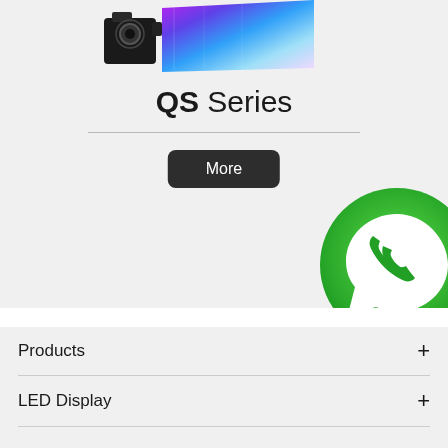[Figure (illustration): Product image showing a camera/lighting device next to an LED display screen with colorful gradient]
QS Series
More
[Figure (logo): WhatsApp logo - green circle with white phone handset icon inside a speech bubble]
Products +
LED Display +